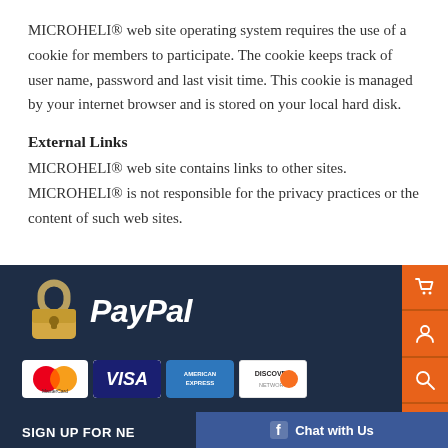MICROHELI® web site operating system requires the use of a cookie for members to participate. The cookie keeps track of user name, password and last visit time. This cookie is managed by your internet browser and is stored on your local hard disk.
External Links
MICROHELI® web site contains links to other sites. MICROHELI® is not responsible for the privacy practices or the content of such web sites.
[Figure (other): Footer area with dark blue background containing a padlock icon and PayPal logo, credit card logos (MasterCard, Visa, American Express, Discover), a 'SIGN UP FOR NE...' text, orange sidebar buttons with cart, user, search, and eye icons, and a blue Facebook 'Chat with Us' bar.]